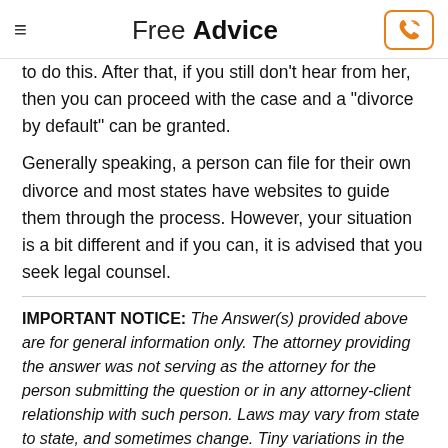Free Advice
to do this. After that, if you still don't hear from her, then you can proceed with the case and a "divorce by default" can be granted.
Generally speaking, a person can file for their own divorce and most states have websites to guide them through the process. However, your situation is a bit different and if you can, it is advised that you seek legal counsel.
IMPORTANT NOTICE: The Answer(s) provided above are for general information only. The attorney providing the answer was not serving as the attorney for the person submitting the question or in any attorney-client relationship with such person. Laws may vary from state to state, and sometimes change. Tiny variations in the facts, or a fact not set forth in a question, often